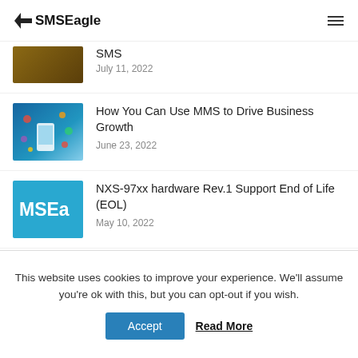SMSEagle
SMS — July 11, 2022
How You Can Use MMS to Drive Business Growth — June 23, 2022
NXS-97xx hardware Rev.1 Support End of Life (EOL) — May 10, 2022
Categories
This website uses cookies to improve your experience. We'll assume you're ok with this, but you can opt-out if you wish.